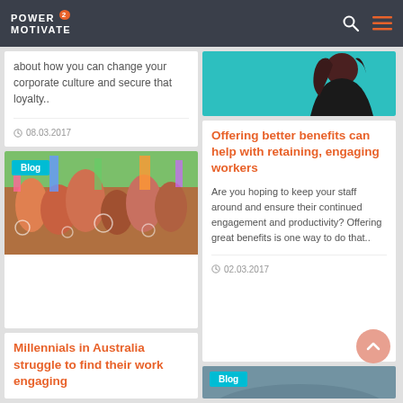POWER 2 MOTIVATE
about how you can change your corporate culture and secure that loyalty..
08.03.2017
[Figure (photo): Group of young people celebrating outdoors with flags and bubbles]
Millennials in Australia struggle to find their work engaging
[Figure (photo): Young woman with teal background, looking to the side]
Offering better benefits can help with retaining, engaging workers
Are you hoping to keep your staff around and ensure their continued engagement and productivity? Offering great benefits is one way to do that..
02.03.2017
[Figure (photo): Partial image of a blog card at the bottom right, showing a landscape photo]